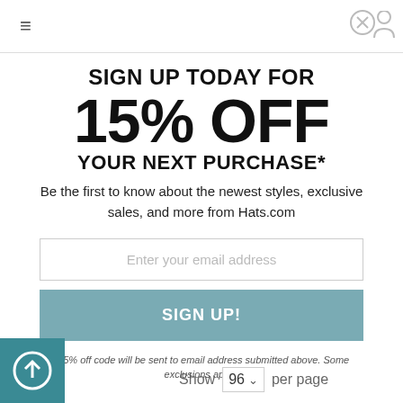SIGN UP TODAY FOR 15% OFF YOUR NEXT PURCHASE*
Be the first to know about the newest styles, exclusive sales, and more from Hats.com
Enter your email address
SIGN UP!
*15% off code will be sent to email address submitted above. Some exclusions apply.
Show 96 per page